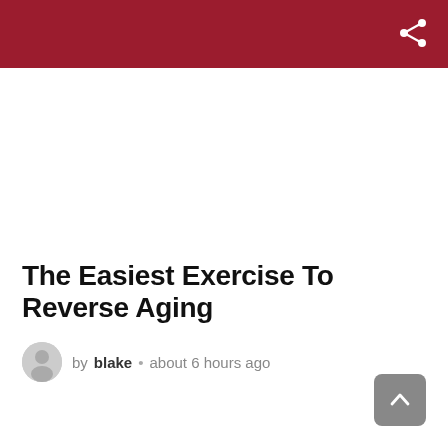The Easiest Exercise To Reverse Aging
by blake • about 6 hours ago